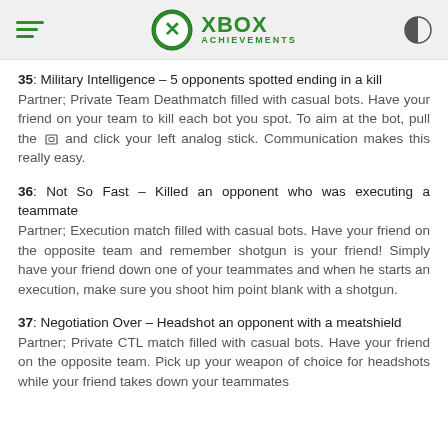XBOX ACHIEVEMENTS
35: Military Intelligence – 5 opponents spotted ending in a kill
Partner; Private Team Deathmatch filled with casual bots. Have your friend on your team to kill each bot you spot. To aim at the bot, pull the [controller] and click your left analog stick. Communication makes this really easy.
36: Not So Fast – Killed an opponent who was executing a teammate
Partner; Execution match filled with casual bots. Have your friend on the opposite team and remember shotgun is your friend! Simply have your friend down one of your teammates and when he starts an execution, make sure you shoot him point blank with a shotgun.
37: Negotiation Over – Headshot an opponent with a meatshield
Partner; Private CTL match filled with casual bots. Have your friend on the opposite team. Pick up your weapon of choice for headshots while your friend takes down your teammates